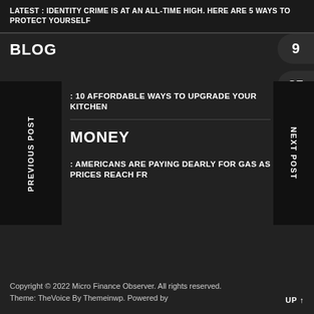LATEST : IDENTITY CRIME IS AT AN ALL-TIME HIGH. HERE ARE 5 WAYS TO PROTECT YOURSELF
BLOG
9
25
PREVIOUS POST
: 10 AFFORDABLE WAYS TO UPGRADE YOUR KITCHEN
MONEY
: AMERICANS ARE PAYING DEARLY FOR GAS AS PRICES REACH FR
NEXT POST
Copyright © 2022 Micro Finance Observer. All rights reserved.
Theme: TheVoice By Themeinwp. Powered by
UP ↑